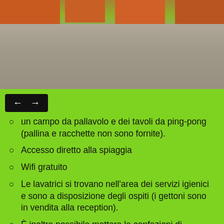[Figure (photo): Outdoor photo showing a gravel/pebble ground area with orange/terracotta colored buildings and trees visible in the background at the top]
un campo da pallavolo e dei tavoli da ping-pong (pallina e racchette non sono fornite).
Accesso diretto alla spiaggia
Wifi gratuito
Le lavatrici si trovano nell'area dei servizi igienici e sono a disposizione degli ospiti (i gettoni sono in vendita alla reception).
È inoltre possibile mettere le confezioni di ghiaccio nei